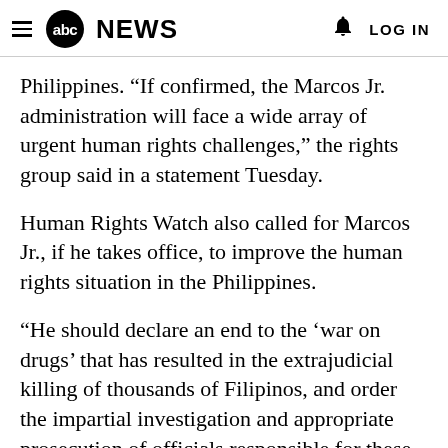abc NEWS   LOG IN
Philippines. “If confirmed, the Marcos Jr. administration will face a wide array of urgent human rights challenges," the rights group said in a statement Tuesday.
Human Rights Watch also called for Marcos Jr., if he takes office, to improve the human rights situation in the Philippines.
“He should declare an end to the ‘war on drugs’ that has resulted in the extrajudicial killing of thousands of Filipinos, and order the impartial investigation and appropriate prosecution of officials responsible for these unlawful killings," said Phil Robertson, the